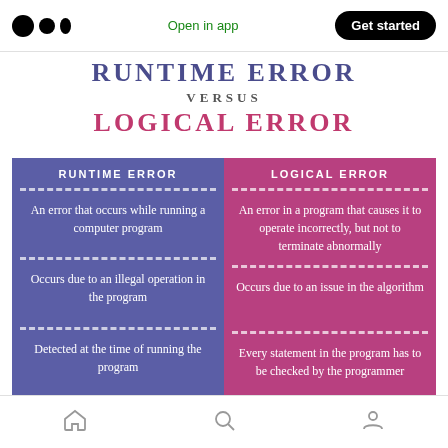Open in app  Get started
RUNTIME ERROR
VERSUS
LOGICAL ERROR
[Figure (infographic): Two-column comparison infographic. Left column (blue/purple): RUNTIME ERROR - An error that occurs while running a computer program / Occurs due to an illegal operation in the program / Detected at the time of running the program. Right column (pink/magenta): LOGICAL ERROR - An error in a program that causes it to operate incorrectly, but not to terminate abnormally / Occurs due to an issue in the algorithm / Every statement in the program has to be checked by the programmer.]
Home / Search / Profile navigation icons